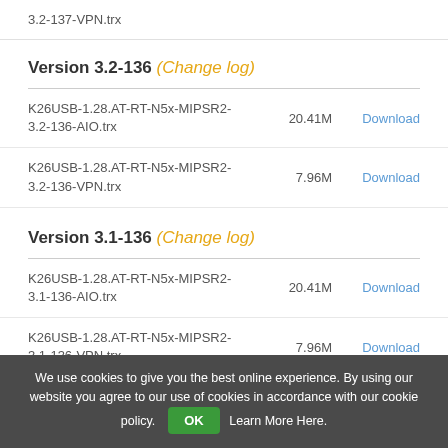3.2-137-VPN.trx
Version 3.2-136 (Change log)
K26USB-1.28.AT-RT-N5x-MIPSR2-3.2-136-AIO.trx   20.41M   Download
K26USB-1.28.AT-RT-N5x-MIPSR2-3.2-136-VPN.trx   7.96M   Download
Version 3.1-136 (Change log)
K26USB-1.28.AT-RT-N5x-MIPSR2-3.1-136-AIO.trx   20.41M   Download
K26USB-1.28.AT-RT-N5x-MIPSR2-3.1-136-VPN.trx   7.96M   Download
We use cookies to give you the best online experience. By using our website you agree to our use of cookies in accordance with our cookie policy. OK Learn More Here.